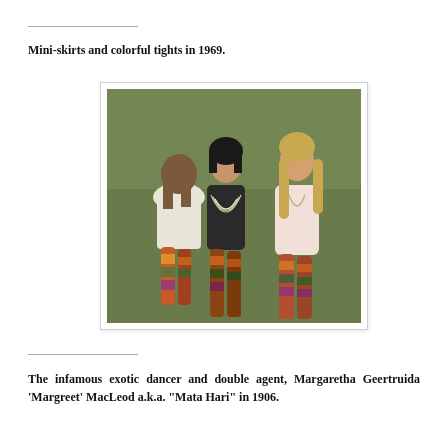Mini-skirts and colorful tights in 1969.
[Figure (photo): Vintage 1969 photograph of three young women standing on a grassy lawn, wearing mini-skirts and colorful patterned tights. Two women face the viewer; one has short dark hair and wears a black mini dress with layered pearl necklaces; another has long blonde hair and wears a pale pink mini dress with a long necklace. A third woman with long brown hair faces away, wearing a white textured mini dress. All three wear vivid floral/patterned tights.]
The infamous exotic dancer and double agent, Margaretha Geertruida 'Margreet' MacLeod a.k.a. "Mata Hari" in 1906.